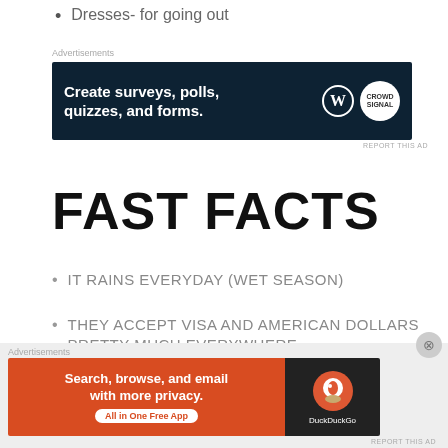Dresses- for going out
[Figure (other): Advertisement banner: Create surveys, polls, quizzes, and forms. WordPress and Crowdsignal logos on dark navy background.]
REPORT THIS AD
FAST FACTS
IT RAINS EVERYDAY (WET SEASON)
THEY ACCEPT VISA AND AMERICAN DOLLARS PRETTY MUCH EVERYWHERE
[Figure (other): Advertisement banner: Search, browse, and email with more privacy. All in One Free App. DuckDuckGo.]
REPORT THIS AD